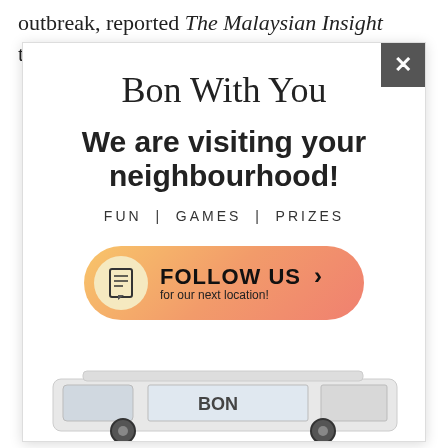outbreak, reported The Malaysian Insight today.
[Figure (screenshot): Advertisement overlay for 'Bon With You' campaign showing script logo, headline 'We are visiting your neighbourhood!', tagline 'FUN I GAMES I PRIZES', a gradient orange button 'FOLLOW US for our next location >', a close X button, and the top of a van with 'BON' branding at the bottom.]